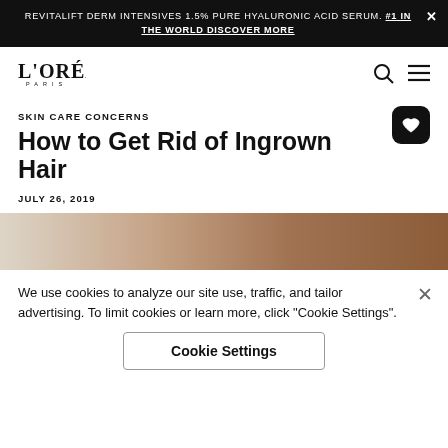REVITALIFT DERM INTENSIVES 1.5% PURE HYALURONIC ACID SERUM. #1 IN THE WORLD DISCOVER MORE
[Figure (logo): L'ORÉAL PARIS logo]
SKIN CARE CONCERNS
How to Get Rid of Ingrown Hair
JULY 26, 2019
[Figure (photo): Close-up photo of dark-skinned person's shoulder/skin area, light grey background]
We use cookies to analyze our site use, traffic, and tailor advertising. To limit cookies or learn more, click "Cookie Settings".
Cookie Settings